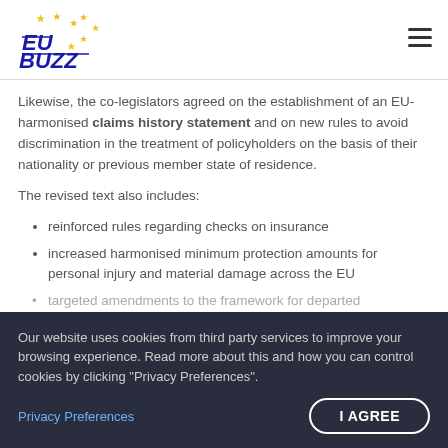EU Buzz logo and navigation
Likewise, the co-legislators agreed on the establishment of an EU-harmonised claims history statement and on new rules to avoid discrimination in the treatment of policyholders on the basis of their nationality or previous member state of residence.
The revised text also includes:
reinforced rules regarding checks on insurance
increased harmonised minimum protection amounts for personal injury and material damage across the EU
targeted amendments to the framework for departed...
Our website uses cookies from third party services to improve your browsing experience. Read more about this and how you can control cookies by clicking "Privacy Preferences".